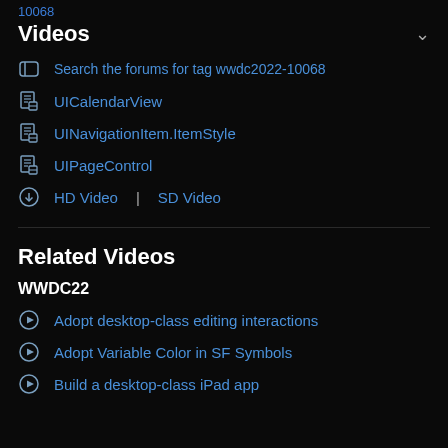10068
Videos
Search the forums for tag wwdc2022-10068
UICalendarView
UINavigationItem.ItemStyle
UIPageControl
HD Video | SD Video
Related Videos
WWDC22
Adopt desktop-class editing interactions
Adopt Variable Color in SF Symbols
Build a desktop-class iPad app